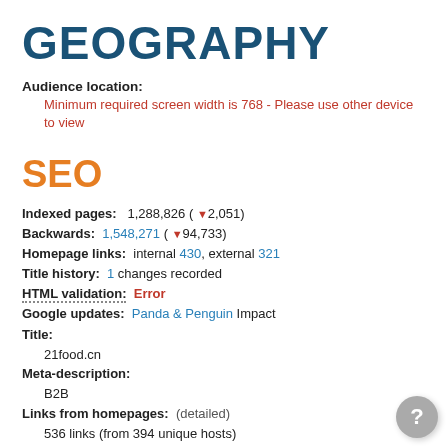GEOGRAPHY
Audience location:
Minimum required screen width is 768 - Please use other device to view
SEO
Indexed pages:  1,288,826 (▼2,051)
Backwards:  1,548,271 (▼94,733)
Homepage links:  internal 430, external 321
Title history:  1 changes recorded
HTML validation:  Error
Google updates:  Panda & Penguin Impact
Title:
21food.cn
Meta-description:
B2B
Links from homepages:  (detailed)
536 links (from 394 unique hosts)
Examples: meishichina.com, unsbiz.com, topfo.com, shuandang.com, egou.com, foods1.com, jstrans.com,